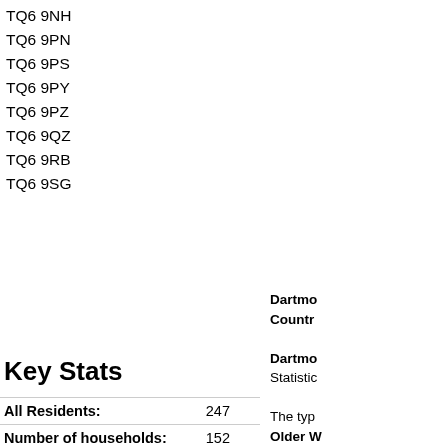TQ6 9NH
TQ6 9PN
TQ6 9PS
TQ6 9PY
TQ6 9PZ
TQ6 9QZ
TQ6 9RB
TQ6 9SG
Key Stats
|  |  |
| --- | --- |
| All Residents: | 247 |
| Number of households: | 152 |
| Average household size: | 1.60 |
| Residents in households: | 247 |
Dartmo Country Dartmo Statistic The typ Older W